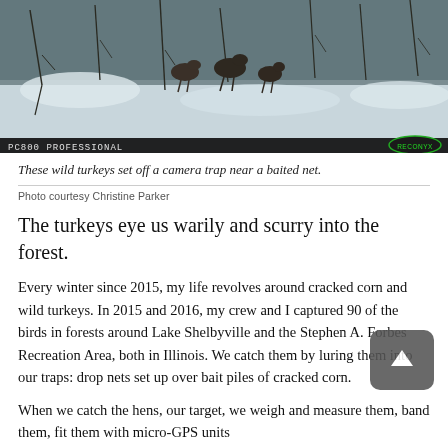[Figure (photo): Camera trap photo showing wild turkeys in a snowy forest setting. Bottom-left shows text 'PC800 PROFESSIONAL' and bottom-right shows a green oval logo reading 'RECONYX'.]
These wild turkeys set off a camera trap near a baited net.
Photo courtesy Christine Parker
The turkeys eye us warily and scurry into the forest.
Every winter since 2015, my life revolves around cracked corn and wild turkeys. In 2015 and 2016, my crew and I captured 90 of the birds in forests around Lake Shelbyville and the Stephen A. Forbes Recreation Area, both in Illinois. We catch them by luring them into our traps: drop nets set up over bait piles of cracked corn.
When we catch the hens, our target, we weigh and measure them, band them, fit them with micro-GPS units and band them...